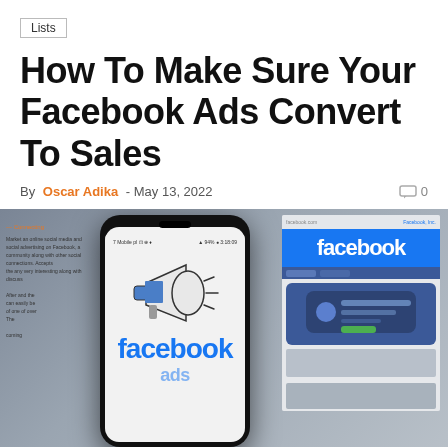Lists
How To Make Sure Your Facebook Ads Convert To Sales
By Oscar Adika - May 13, 2022    0
[Figure (photo): A smartphone displaying a Facebook ads megaphone graphic with 'facebook' text, held in front of a computer monitor showing the Facebook homepage.]